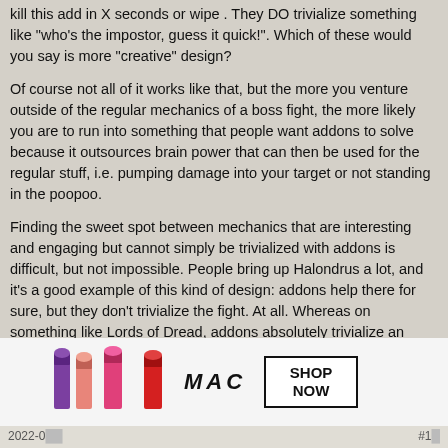kill this add in X seconds or wipe . They DO trivialize something like "who's the impostor, guess it quick!". Which of these would you say is more "creative" design?
Of course not all of it works like that, but the more you venture outside of the regular mechanics of a boss fight, the more likely you are to run into something that people want addons to solve because it outsources brain power that can then be used for the regular stuff, i.e. pumping damage into your target or not standing in the poopoo.
Finding the sweet spot between mechanics that are interesting and engaging but cannot simply be trivialized with addons is difficult, but not impossible. People bring up Halondrus a lot, and it's a good example of this kind of design: addons help there for sure, but they don't trivialize the fight. At all. Whereas on something like Lords of Dread, addons absolutely trivialize an entire fight mechanic. We need more fights in the vein of Halondrus (though perhaps not at that level of overall difficulty) and less fights like Lords of Dread.
Addons increase encounter complexity, but that is, on the whole, a GOOD thing. Without addons, encounters would very quickly devolve into being either incredibly difficult to do for the average player not fielding an outrageous amount of concentration and multitasking ability, or being trivially easy for anyone that has even a little bit of that. Addons level the playing field so more people can enjoy better fights. That is something that works to the benefit of a lot of people.
[Figure (photo): MAC cosmetics advertisement banner showing colorful lipsticks (purple, pink, hot pink, red) alongside the MAC logo in italic text and a 'SHOP NOW' button in a black bordered box.]
2022-0...   #1...